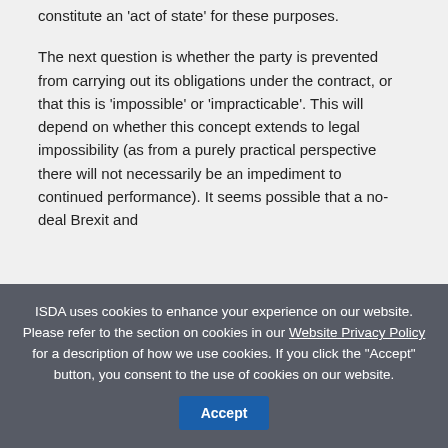constitute an 'act of state' for these purposes.

The next question is whether the party is prevented from carrying out its obligations under the contract, or that this is 'impossible' or 'impracticable'. This will depend on whether this concept extends to legal impossibility (as from a purely practical perspective there will not necessarily be an impediment to continued performance). It seems possible that a no-deal Brexit and...
ISDA uses cookies to enhance your experience on our website. Please refer to the section on cookies in our Website Privacy Policy for a description of how we use cookies. If you click the "Accept" button, you consent to the use of cookies on our website.